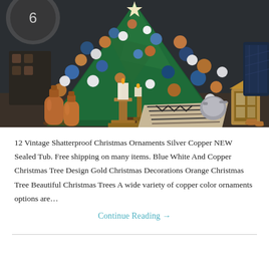[Figure (photo): A decorated Christmas tree with blue, copper/bronze, white, and silver ornaments. In front are copper metallic bottles/vases, candles on wooden candleholders, a chevron-patterned pillow, a wooden lantern, and various holiday decorations on a table.]
12 Vintage Shatterproof Christmas Ornaments Silver Copper NEW Sealed Tub. Free shipping on many items. Blue White And Copper Christmas Tree Design Gold Christmas Decorations Orange Christmas Tree Beautiful Christmas Trees A wide variety of copper color ornaments options are…
Continue Reading →